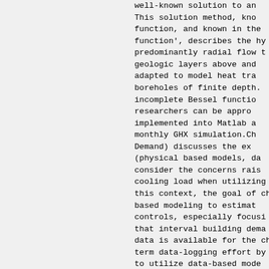well-known solution to an infinite line source. This solution method, known as the 'G-function, and known in the petroleum industry as 'J-function', describes the hydraulic behavior of predominantly radial flow through porous geologic layers above and below. It has been adapted to model heat transfer rates in boreholes of finite depth. It involves the incomplete Bessel function, which many researchers can be approximated and implemented into Matlab as a part of a monthly GHX simulation.Chapter 2 (Building Demand) discusses the existing approaches (physical based models, data-based models) to consider the concerns raised by heating and cooling load when utilizing this mode. In this context, the goal of chapter 2 is data-based modeling to estimate the thermostat controls, especially focusing on the premise that interval building demand and occupancy data is available for the chosen building, a term data-logging effort by the building operator to utilize data-based models for predicting demand. If a model could be determined from whole building demand, it could be from whole building demand